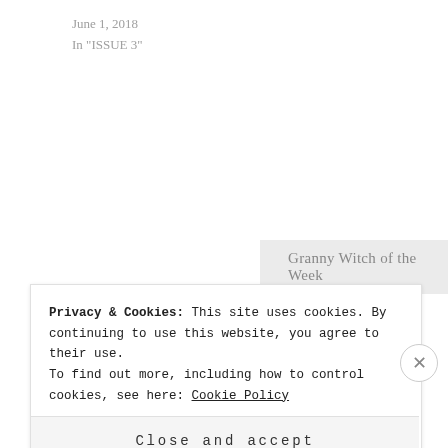June 1, 2018
In "ISSUE 3"
Granny Witch of the Week
[Figure (other): Horizontal divider line with a small gold dot in the center]
PREVIOUS POST
Review: No Is Not Enough by Naomi Klein
Privacy & Cookies: This site uses cookies. By continuing to use this website, you agree to their use.
To find out more, including how to control cookies, see here: Cookie Policy
Close and accept